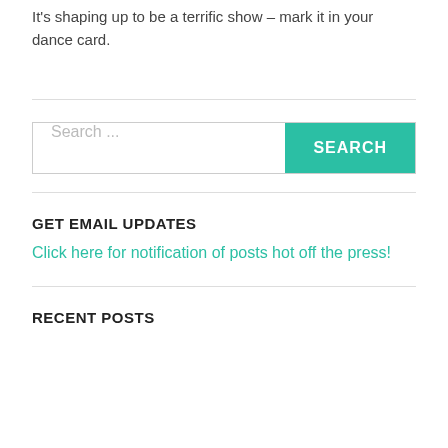It's shaping up to be a terrific show – mark it in your dance card.
Search ...
GET EMAIL UPDATES
Click here for notification of posts hot off the press!
RECENT POSTS